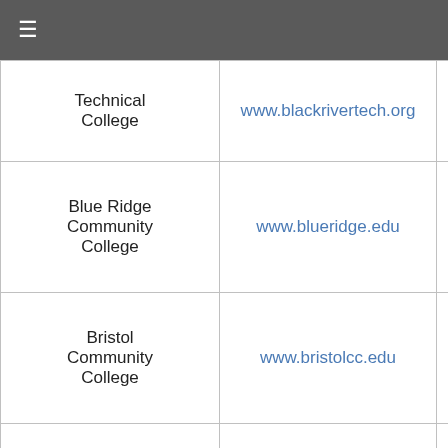≡
| Technical College | www.blackrivertech.org |  |
| Blue Ridge Community College | www.blueridge.edu |  |
| Bristol Community College | www.bristolcc.edu |  |
| Broward College | www.broward.edu |  |
| Bucks County Community College | www.bucks.edu |  |
| Bunker Hill Community College | www.bhcc.mass.edu |  |